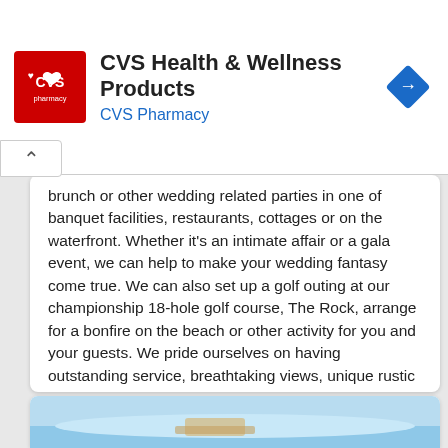[Figure (logo): CVS Health & Wellness Products advertisement banner with CVS Pharmacy logo (red square with heart and CVS pharmacy text), title 'CVS Health & Wellness Products', subtitle 'CVS Pharmacy' in blue, and a blue navigation/directions diamond icon on the right.]
brunch or other wedding related parties in one of banquet facilities, restaurants, cottages or on the waterfront. Whether it's an intimate affair or a gala event, we can help to make your wedding fantasy come true. We can also set up a golf outing at our championship 18-hole golf course, The Rock, arrange for a bonfire on the beach or other activity for you and your guests. We pride ourselves on having outstanding service, breathtaking views, unique rustic elegance and numerous amenities and activities.
1-800-999-6343 for more information
Get Wedding Information
[Figure (photo): Partial photo visible at bottom of page showing what appears to be an outdoor scene with blue sky and some object, possibly a golf cart or outdoor venue.]